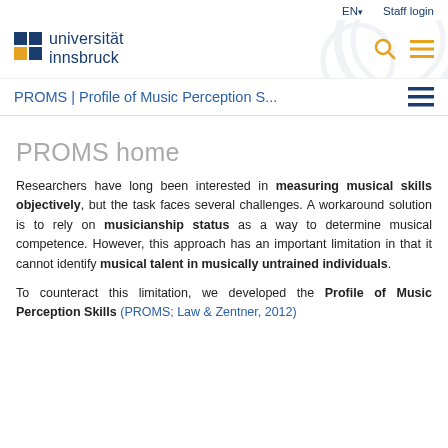EN  Staff login
[Figure (logo): Universität Innsbruck logo with blue and orange squares and text]
PROMS | Profile of Music Perception S...
PROMS home
Researchers have long been interested in measuring musical skills objectively, but the task faces several challenges. A workaround solution is to rely on musicianship status as a way to determine musical competence. However, this approach has an important limitation in that it cannot identify musical talent in musically untrained individuals.
To counteract this limitation, we developed the Profile of Music Perception Skills (PROMS; Law & Zentner, 2012)